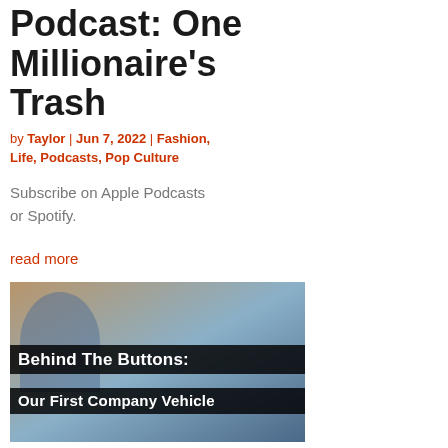Podcast: One Millionaire's Trash
by Taylor | Jun 7, 2022 | Fashion, Life, Podcasts, Pop Culture
Subscribe on Apple Podcasts or Spotify.
read more
[Figure (photo): Thumbnail image for 'Behind The Buttons: Our First Company Vehicle' showing a person smiling with a brick wall background and bold white text overlay on black bars]
Behind the